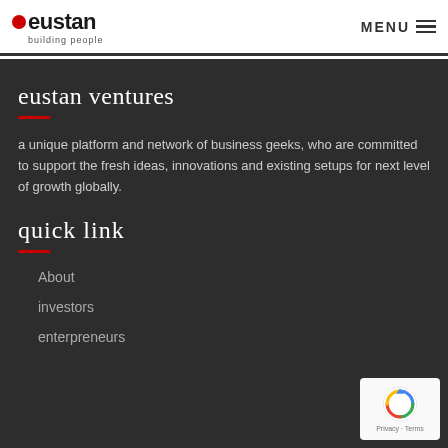eustan building people | MENU
eustan ventures
a unique platform and network of business geeks, who are committed to support the fresh ideas, innovations and existing setups for next level of growth globally.
quick link
About
investors
enterpreneurs